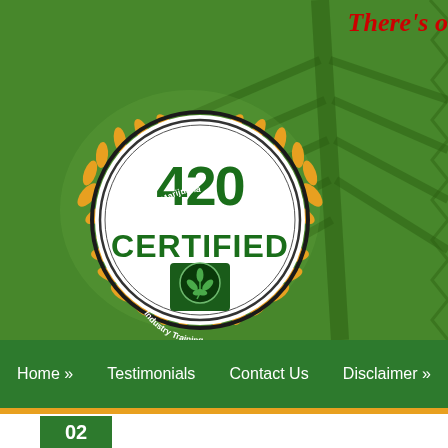[Figure (photo): Green cannabis leaf background filling the hero banner area]
There's o
[Figure (logo): 420 Certified badge with Medical Marijuana Industry Training logo — circular badge with laurel wreath, bold green text '420 CERTIFIED' and small cannabis leaf shield emblem]
Home »   Testimonials   Contact Us   Disclaimer »
02